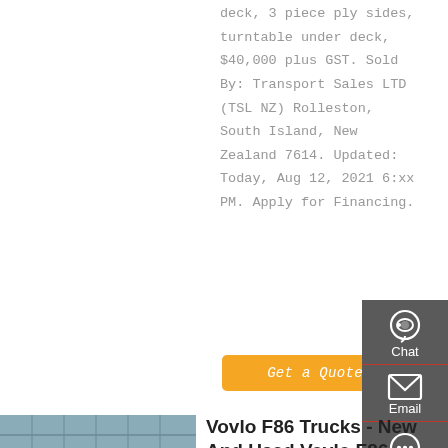deck, 3 piece ply sides, turntable under deck, $40,000 plus GST. Sold By: Transport Sales LTD (TSL NZ) Rolleston, South Island, New Zealand 7614. Updated: Today, Aug 12, 2021 6:xx PM. Apply for Financing.
Get a Quote
[Figure (photo): Teal/turquoise dump truck parked in front of a building with stacked concrete blocks]
Vovlo F86 Trucks - New And Used Vovlo F86 Trucks For Sale